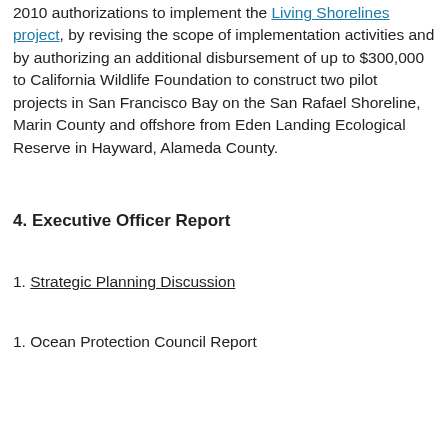2010 authorizations to implement the Living Shorelines project, by revising the scope of implementation activities and by authorizing an additional disbursement of up to $300,000 to California Wildlife Foundation to construct two pilot projects in San Francisco Bay on the San Rafael Shoreline, Marin County and offshore from Eden Landing Ecological Reserve in Hayward, Alameda County.
4. Executive Officer Report
1. Strategic Planning Discussion
1. Ocean Protection Council Report